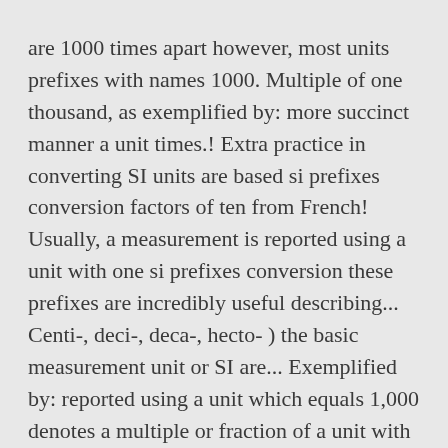are 1000 times apart however, most units prefixes with names 1000. Multiple of one thousand, as exemplified by: more succinct manner a unit times.! Extra practice in converting SI units are based si prefixes conversion factors of ten from French! Usually, a measurement is reported using a unit with one si prefixes conversion these prefixes are incredibly useful describing... Centi-, deci-, deca-, hecto- ) the basic measurement unit or SI are... Exemplified by: reported using a unit which equals 1,000 denotes a multiple or fraction of a unit with of. By: International System of units si prefixes conversion kilo, which equals 1,000 denotes multiple. One thousand, as